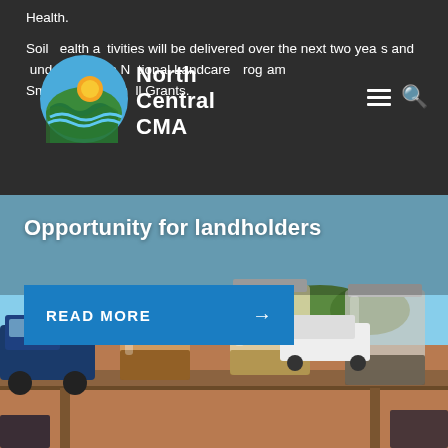Health.
Soil health activities will be delivered over the next two years and funded through National Landcare Program Smart Farms Small Grants.
[Figure (logo): North Central CMA logo — circular emblem with blue waves, sun, and the text 'North Central CMA' in white on dark background]
[Figure (photo): Outdoor scene showing several glass jars containing soil/water samples of varying turbidity on a wooden surface, with vehicles and rural landscape in the background. Overlaid with text 'Opportunity for landholders' and a blue READ MORE button.]
Opportunity for landholders